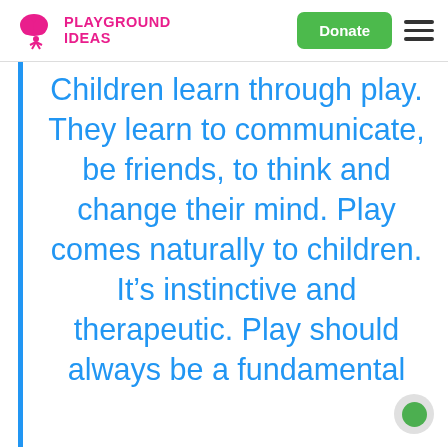PLAYGROUND IDEAS — Donate
Children learn through play. They learn to communicate, be friends, to think and change their mind. Play comes naturally to children. It’s instinctive and therapeutic. Play should always be a fundamental